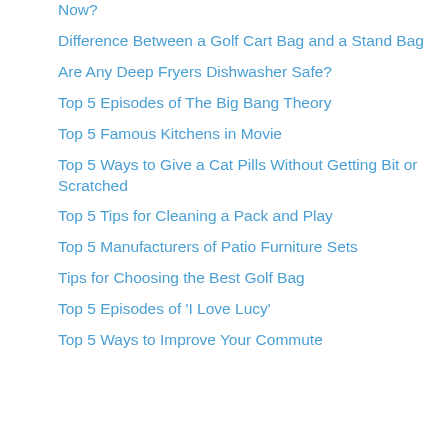Now?
Difference Between a Golf Cart Bag and a Stand Bag
Are Any Deep Fryers Dishwasher Safe?
Top 5 Episodes of The Big Bang Theory
Top 5 Famous Kitchens in Movie
Top 5 Ways to Give a Cat Pills Without Getting Bit or Scratched
Top 5 Tips for Cleaning a Pack and Play
Top 5 Manufacturers of Patio Furniture Sets
Tips for Choosing the Best Golf Bag
Top 5 Episodes of ‘I Love Lucy’
Top 5 Ways to Improve Your Commute